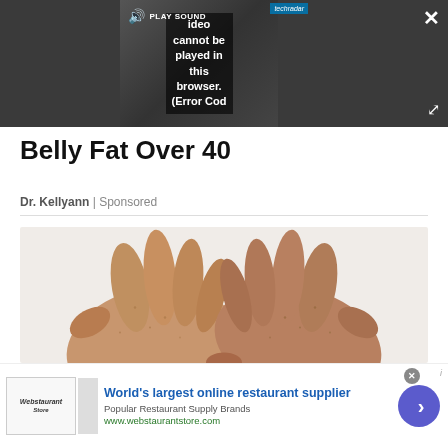[Figure (screenshot): Video player showing error message: 'Video cannot be played in this browser. (Error Cod' with PLAY SOUND button and techradar logo. Dark background with close button (X) and expand button.]
Belly Fat Over 40
Dr. Kellyann | Sponsored
[Figure (photo): Close-up photo of two elderly hands placed on a white surface, fingers touching at the center.]
[Figure (screenshot): Advertisement banner: World's largest online restaurant supplier. Popular Restaurant Supply Brands. www.webstaurantstore.com. Webstaurant Store logo on left, blue circle arrow button on right.]